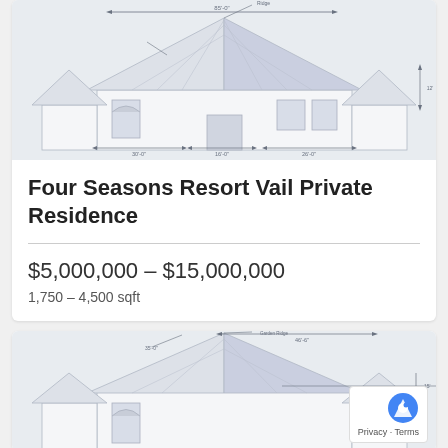[Figure (engineering-diagram): Architectural elevation drawing of a house with dimension lines and measurement annotations, shown on a light blue-grey background.]
Four Seasons Resort Vail Private Residence
$5,000,000 – $15,000,000
1,750 – 4,500 sqft
[Figure (engineering-diagram): Second architectural elevation drawing of a similar house with dimension lines and measurement annotations, partially visible at the bottom of the page.]